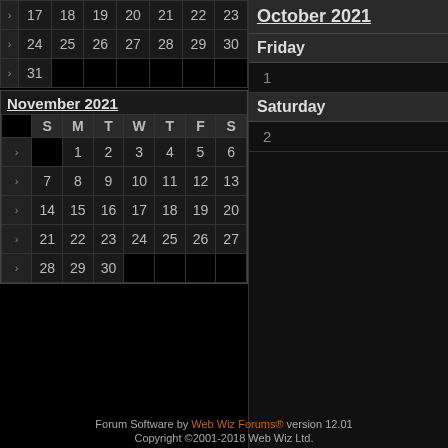| > | S | M | T | W | T | F | S |
| --- | --- | --- | --- | --- | --- | --- | --- |
| > | 17 | 18 | 19 | 20 | 21 | 22 | 23 |
| > | 24 | 25 | 26 | 27 | 28 | 29 | 30 |
| > | 31 |  |  |  |  |  |  |
November 2021
| > | S | M | T | W | T | F | S |
| --- | --- | --- | --- | --- | --- | --- | --- |
| > |  | 1 | 2 | 3 | 4 | 5 | 6 |
| > | 7 | 8 | 9 | 10 | 11 | 12 | 13 |
| > | 14 | 15 | 16 | 17 | 18 | 19 | 20 |
| > | 21 | 22 | 23 | 24 | 25 | 26 | 27 |
| > | 28 | 29 | 30 |  |  |  |  |
October 2021
Friday
1
Saturday
2
Forum Software by Web Wiz Forums® version 12.01
Copyright ©2001-2018 Web Wiz Ltd.